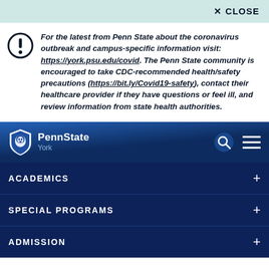✕ CLOSE
For the latest from Penn State about the coronavirus outbreak and campus-specific information visit: https://york.psu.edu/covid. The Penn State community is encouraged to take CDC-recommended health/safety precautions (https://bit.ly/Covid19-safety), contact their healthcare provider if they have questions or feel ill, and review information from state health authorities.
[Figure (logo): Penn State York logo with lion shield and search/menu icons on dark navy navigation bar]
ACADEMICS +
SPECIAL PROGRAMS +
ADMISSION +